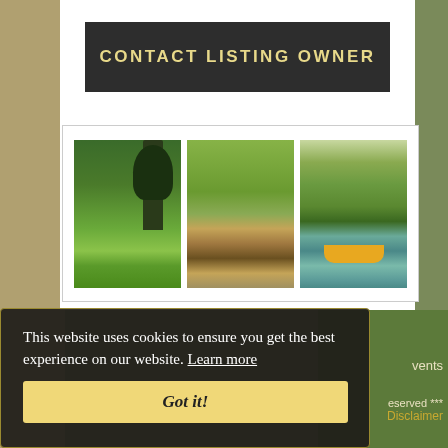CONTACT LISTING OWNER
[Figure (photo): Three photos in a gallery row: left shows a golf course with a large tree and valley view; center shows a wooden boat on a river with green fields behind; right shows a person kayaking in a yellow kayak on a river.]
This website uses cookies to ensure you get the best experience on our website. Learn more
Got it!
vents
eserved ***
Disclaimer